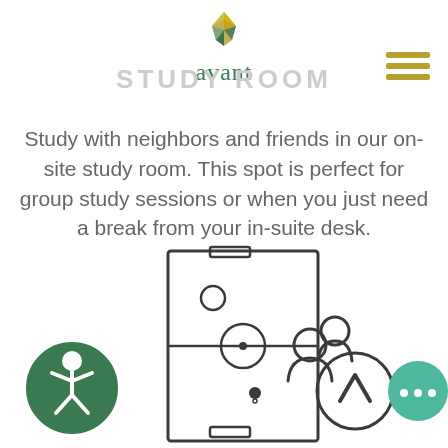[Figure (logo): Avant logo with colorful geometric diamond shape above the text 'avant' in green serif font]
STUDY ROOM
Study with neighbors and friends in our on-site study room. This spot is perfect for group study sessions or when you just need a break from your in-suite desk.
[Figure (illustration): Line drawing icons at bottom: accessibility icon in green circle on left, foosball table floor plan icon in center, group of people icon, up arrow in circle icon, and chat bubble icon in teal circle on right]